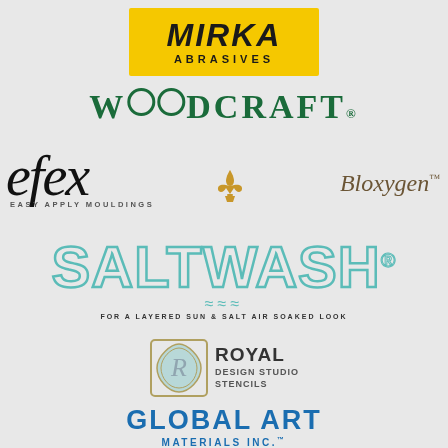[Figure (logo): Mirka Abrasives logo — black bold italic text on yellow rectangle background]
[Figure (logo): Woodcraft logo — dark green serif bold text with circle in OO]
[Figure (logo): efex Easy Apply Mouldings logo — large black italic script with gold fleur-de-lis]
[Figure (logo): Bloxygen logo — italic brown/tan serif text]
[Figure (logo): Saltwash logo — teal outlined text with wave decoration and tagline FOR A LAYERED SUN & SALT AIR SOAKED LOOK]
[Figure (logo): Royal Design Studio Stencils logo — decorative emblem with R monogram and text]
[Figure (logo): Global Art Materials Inc. logo — blue bold text]